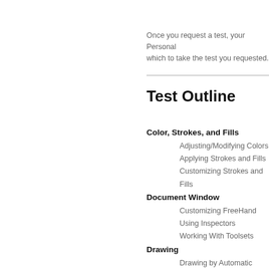Once you request a test, your Personal which to take the test you requested.
Test Outline
Color, Strokes, and Fills
Adjusting/Modifying Colors
Applying Strokes and Fills
Customizing Strokes and Fills
Document Window
Customizing FreeHand
Using Inspectors
Working With Toolsets
Drawing
Drawing by Automatic Options
Using Drawing Tools
Layers
Moving / Merging Layers